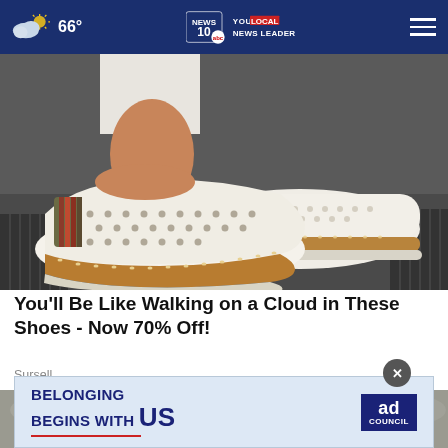66° NEWS 10 YOUR LOCAL NEWS LEADER
[Figure (photo): Close-up photo of a person wearing white slip-on shoes with perforated texture, striped multicolor fabric accent, and brown espadrille-style sole, standing on pavement near a drain grate]
You'll Be Like Walking on a Cloud in These Shoes - Now 70% Off!
Sursell
[Figure (photo): Grayscale photo of feet in light-colored shoes on a stone/cobblestone surface]
[Figure (infographic): Ad banner: BELONGING BEGINS WITH US - Ad Council advertisement with blue and white background and red underline]